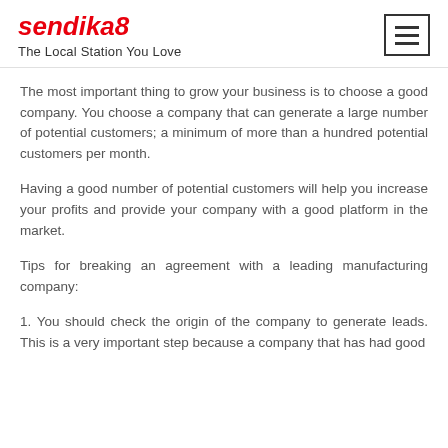sendika8 — The Local Station You Love
The most important thing to grow your business is to choose a good company. You choose a company that can generate a large number of potential customers; a minimum of more than a hundred potential customers per month.
Having a good number of potential customers will help you increase your profits and provide your company with a good platform in the market.
Tips for breaking an agreement with a leading manufacturing company:
1. You should check the origin of the company to generate leads. This is a very important step because a company that has had good